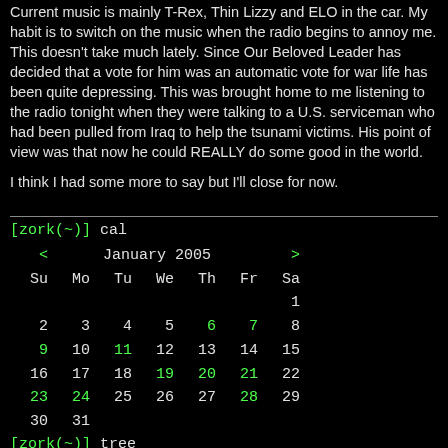Current music is mainly T-Rex, Thin Lizzy and ELO in the car. My habit is to switch on the music when the radio begins to annoy me. This doesn't take much lately. Since Our Beloved Leader has decided that a vote for him was an automatic vote for war life has been quite depressing. This was brought home to me listening to the radio tonight when they were talking to a U.S. serviceman who had been pulled from Iraq to help the tsunami victims. His point of view was that now he could REALLY do some good in the world.
I think I had some more to say but I'll close for now.
[zork(~)] cal
< January 2005 >
Su Mo Tu We Th Fr Sa
                    1
 2  3  4  5  6  7  8
 9 10 11 12 13 14 15
16 17 18 19 20 21 22
23 24 25 26 27 28 29
30 31
[zork(~)] tree